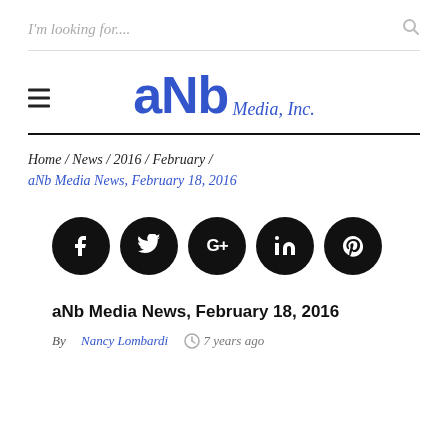I'm looking for....
[Figure (logo): aNb Media, Inc. logo with hamburger menu icon]
Home / News / 2016 / February / aNb Media News, February 18, 2016
[Figure (infographic): Row of 5 social media share buttons: Facebook, Twitter, Google+, LinkedIn, Pinterest]
aNb Media News, February 18, 2016
By Nancy Lombardi  7 years ago